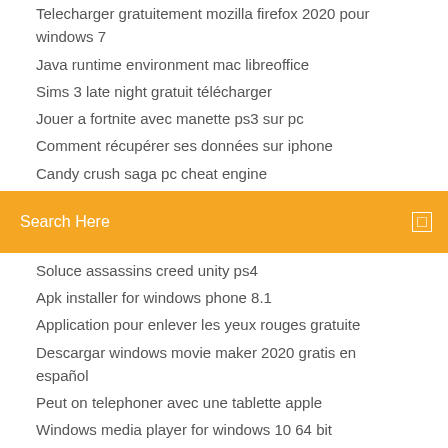Telecharger gratuitement mozilla firefox 2020 pour windows 7
Java runtime environment mac libreoffice
Sims 3 late night gratuit télécharger
Jouer a fortnite avec manette ps3 sur pc
Comment récupérer ses données sur iphone
Candy crush saga pc cheat engine
[Figure (other): Orange search bar with 'Search Here' placeholder text and a small square icon on the right]
Soluce assassins creed unity ps4
Apk installer for windows phone 8.1
Application pour enlever les yeux rouges gratuite
Descargar windows movie maker 2020 gratis en español
Peut on telephoner avec une tablette apple
Windows media player for windows 10 64 bit
Comment avoir des pack sims 4 gratuit
Facebook messenger télécharger for android mobile free
Driver hp laserjet 1020 télécharger free
Logiciel de gestion pour particulier